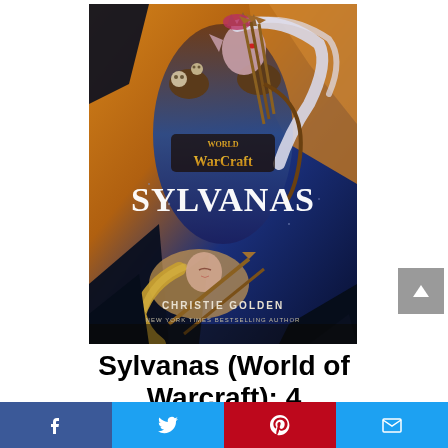[Figure (illustration): Book cover for 'Sylvanas (World of Warcraft)' by Christie Golden. Features a dark fantasy illustration of Sylvanas Windrunner, an undead elf woman with white hair, wearing dark armor with skulls, holding a bow with arrows. Below her is another elf woman with golden hair. The cover includes the World of Warcraft logo at center and the large text 'SYLVANAS'. Author name 'CHRISTIE GOLDEN' and subtitle 'NEW YORK TIMES BESTSELLING AUTHOR' appear at the bottom of the cover.]
Sylvanas (World of Warcraft): 4
[Figure (infographic): Social sharing bar with four buttons: Facebook (blue), Twitter (light blue), Pinterest (red), Email (light blue)]